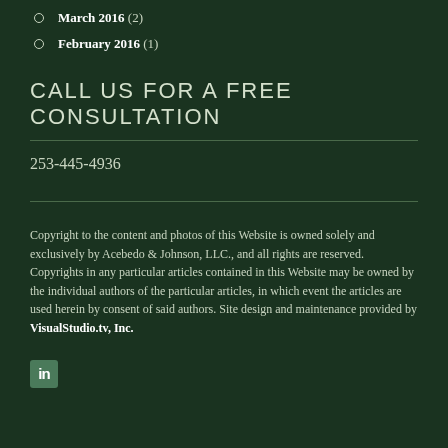March 2016 (2)
February 2016 (1)
CALL US FOR A FREE CONSULTATION
253-445-4936
Copyright to the content and photos of this Website is owned solely and exclusively by Acebedo & Johnson, LLC., and all rights are reserved. Copyrights in any particular articles contained in this Website may be owned by the individual authors of the particular articles, in which event the articles are used herein by consent of said authors. Site design and maintenance provided by VisualStudio.tv, Inc.